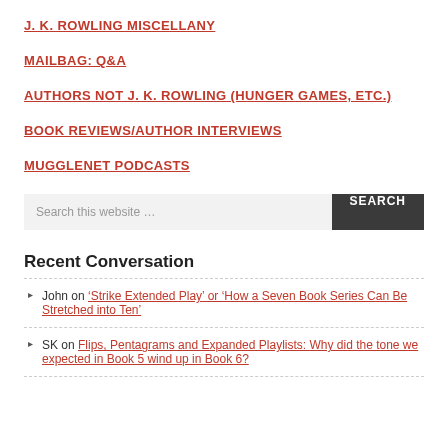J. K. ROWLING MISCELLANY
MAILBAG: Q&A
AUTHORS NOT J. K. ROWLING (HUNGER GAMES, ETC.)
BOOK REVIEWS/AUTHOR INTERVIEWS
MUGGLENET PODCASTS
Search this website …
Recent Conversation
John on 'Strike Extended Play' or 'How a Seven Book Series Can Be Stretched into Ten'
SK on Flips, Pentagrams and Expanded Playlists: Why did the tone we expected in Book 5 wind up in Book 6?